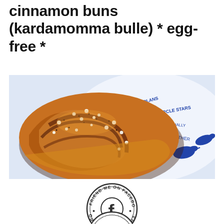cinnamon buns (kardamomma bulle) * egg-free *
[Figure (photo): Close-up photo of a Swedish cardamom/cinnamon bun (kardamomma bulle) with pearl sugar and spices on top, placed on a blue and white decorative plate with bird and text patterns.]
[Figure (logo): Circular stamp badge reading 'FRIEND ME ON FACEBOOK' around the edge with a Facebook 'f' logo in the center.]
[Figure (logo): Partial circular stamp badge, partially cut off at bottom of page.]